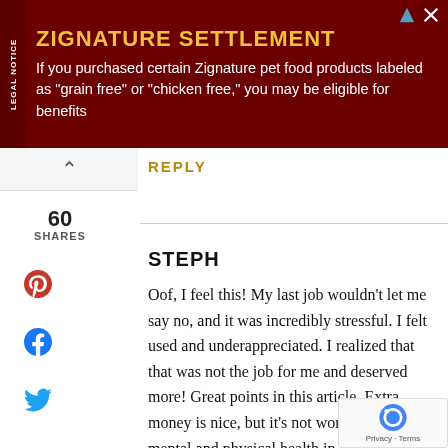[Figure (screenshot): Advertisement banner for Zignature Settlement legal notice. Dark red background with yellow title 'ZIGNATURE SETTLEMENT' and white body text.]
REPLY
60
SHARES
STEPH
Oof, I feel this! My last job wouldn't let me say no, and it was incredibly stressful. I felt used and underappreciated. I realized that that was not the job for me and deserved more! Great points in this article. Extra money is nice, but it's not worth risking your mental and physical health in the long run. As a friend told